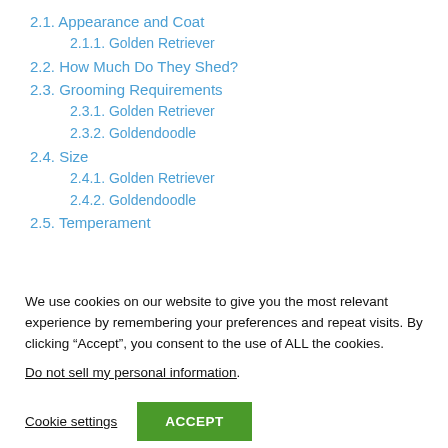2.1. Appearance and Coat
2.1.1. Golden Retriever
2.2. How Much Do They Shed?
2.3. Grooming Requirements
2.3.1. Golden Retriever
2.3.2. Goldendoodle
2.4. Size
2.4.1. Golden Retriever
2.4.2. Goldendoodle
2.5. Temperament
We use cookies on our website to give you the most relevant experience by remembering your preferences and repeat visits. By clicking “Accept”, you consent to the use of ALL the cookies.
Do not sell my personal information.
Cookie settings   ACCEPT